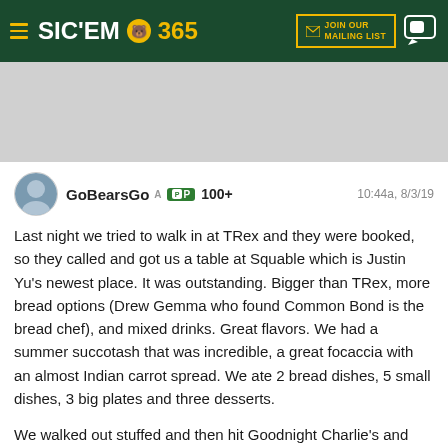SIC'EM 365 — JOIN OUR MAILING LIST
[Figure (other): Gray advertisement banner placeholder]
GoBearsGo  A  P  100+  10:44a, 8/3/19
Last night we tried to walk in at TRex and they were booked, so they called and got us a table at Squable which is Justin Yu's newest place. It was outstanding. Bigger than TRex, more bread options (Drew Gemma who found Common Bond is the bread chef), and mixed drinks. Great flavors. We had a summer succotash that was incredible, a great focaccia with an almost Indian carrot spread. We ate 2 bread dishes, 5 small dishes, 3 big plates and three desserts.

We walked out stuffed and then hit Goodnight Charlie's and had a few drinks and listened to some music.

Tonight we will hit Himalaya and the some tiki bars. Fun weekend in Houston.